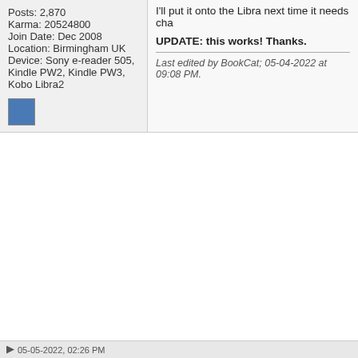I'll put it onto the Libra next time it needs cha
Posts: 2,870
Karma: 20524800
Join Date: Dec 2008
Location: Birmingham UK
Device: Sony e-reader 505, Kindle PW2, Kindle PW3, Kobo Libra2
UPDATE: this works! Thanks.
Last edited by BookCat; 05-04-2022 at 09:08 PM.
05-05-2022, 02:26 PM